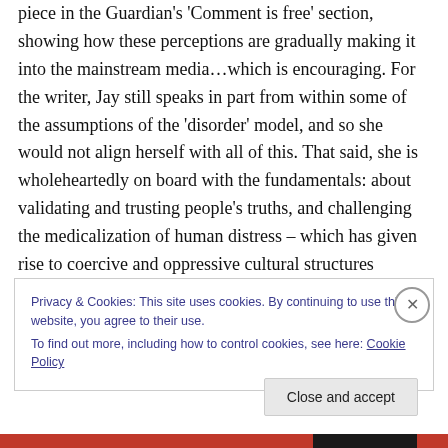piece in the Guardian's 'Comment is free' section, showing how these perceptions are gradually making it into the mainstream media…which is encouraging. For the writer, Jay still speaks in part from within some of the assumptions of the 'disorder' model, and so she would not align herself with all of this. That said, she is wholeheartedly on board with the fundamentals: about validating and trusting people's truths, and challenging the medicalization of human distress – which has given rise to coercive and oppressive cultural structures unsupported by evidence or reason, and in which empathy, compassion
Privacy & Cookies: This site uses cookies. By continuing to use this website, you agree to their use.
To find out more, including how to control cookies, see here: Cookie Policy
Close and accept